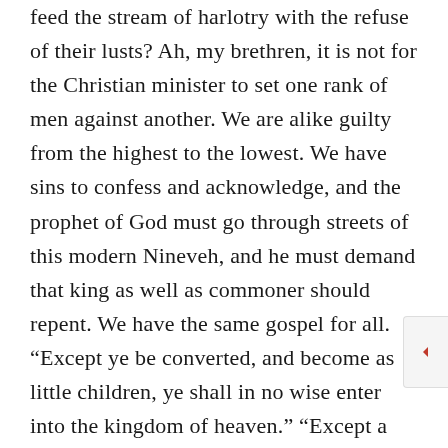feed the stream of harlotry with the refuse of their lusts? Ah, my brethren, it is not for the Christian minister to set one rank of men against another. We are alike guilty from the highest to the lowest. We have sins to confess and acknowledge, and the prophet of God must go through streets of this modern Nineveh, and he must demand that king as well as commoner should repent. We have the same gospel for all. "Except ye be converted, and become as little children, ye shall in no wise enter into the kingdom of heaven." "Except a man be born again, he cannot see the